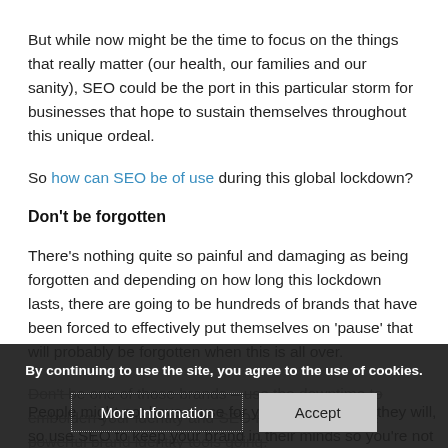But while now might be the time to focus on the things that really matter (our health, our families and our sanity), SEO could be the port in this particular storm for businesses that hope to sustain themselves throughout this unique ordeal.
So how can SEO be of use during this global lockdown?
Don't be forgotten
There's nothing quite so painful and damaging as being forgotten and depending on how long this lockdown lasts, there are going to be hundreds of brands that have been forced to effectively put themselves on 'pause' that will probably be forgotten when this is all over.
Don't be one of those brands – use the downtime to embolden your identity and SEO is one of the most powerful brand identity tools going.
People might not have a use for you right now, but they will, so use SEO to keep your brand in their minds so you're not
By continuing to use the site, you agree to the use of cookies.
More Information
Accept